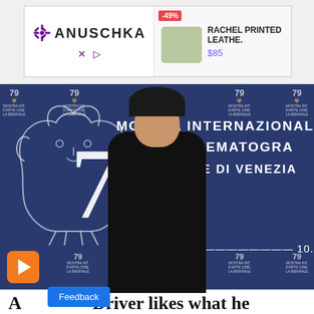[Figure (other): Advertisement banner for Anuschka brand showing a Rachel Printed Leather product at -49% discount for $85]
[Figure (photo): Adam Driver posing at the 79th Venice Film Festival (Mostra Internazionale D'Arte Cinematografica - La Biennale di Venezia) photo call backdrop, wearing black, with dates 31.08 – 10.09 visible, plus a play button overlay and Feedback button]
A... Driver likes what he